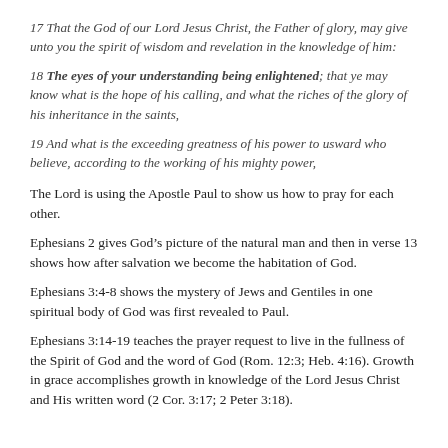17 That the God of our Lord Jesus Christ, the Father of glory, may give unto you the spirit of wisdom and revelation in the knowledge of him:
18 The eyes of your understanding being enlightened; that ye may know what is the hope of his calling, and what the riches of the glory of his inheritance in the saints,
19 And what is the exceeding greatness of his power to usward who believe, according to the working of his mighty power,
The Lord is using the Apostle Paul to show us how to pray for each other.
Ephesians 2 gives God’s picture of the natural man and then in verse 13 shows how after salvation we become the habitation of God.
Ephesians 3:4-8 shows the mystery of Jews and Gentiles in one spiritual body of God was first revealed to Paul.
Ephesians 3:14-19 teaches the prayer request to live in the fullness of the Spirit of God and the word of God (Rom. 12:3; Heb. 4:16). Growth in grace accomplishes growth in knowledge of the Lord Jesus Christ and His written word (2 Cor. 3:17; 2 Peter 3:18).